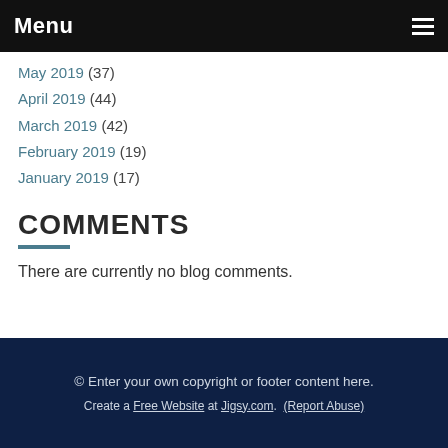Menu
May 2019 (37)
April 2019 (44)
March 2019 (42)
February 2019 (19)
January 2019 (17)
COMMENTS
There are currently no blog comments.
© Enter your own copyright or footer content here.
Create a Free Website at Jigsy.com. (Report Abuse)